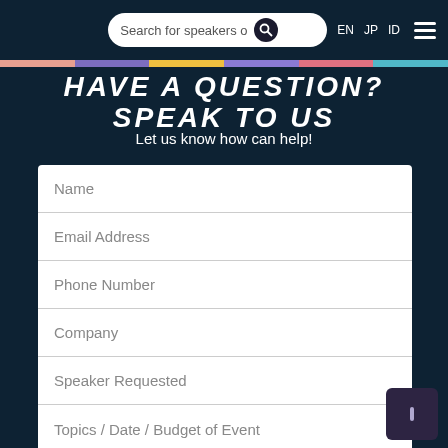Search for speakers o  EN  JP  ID
HAVE A QUESTION? SPEAK TO US
Let us know how can help!
Name
Email Address
Phone Number
Company
Speaker Requested
Topics / Date / Budget of Event